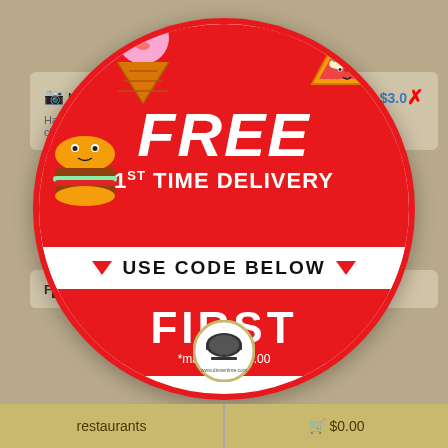Ice Cream - p...  $3.00
Hand Di... chip...
[Figure (infographic): Circular promotional badge with red and white design. Top red section: 'FREE' in large italic bold white text, '1ST TIME DELIVERY' in bold white text. Middle white section: two red triangles flanking 'USE CODE BELOW' in bold black text. Bottom red section: 'FIRST' in large bold white text, '*max value $5.00' in smaller white text. Food cartoon characters (ice cream, pizza, burger) around the circle. Small logo at bottom.]
restaurants
🛒 $0.00